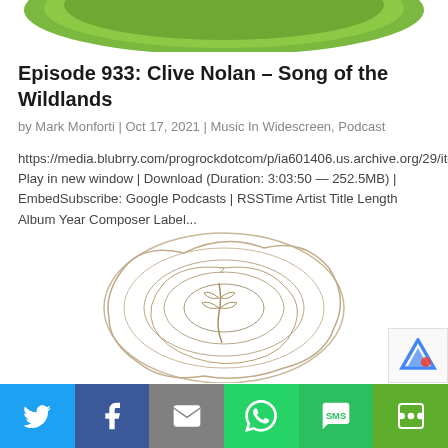[Figure (illustration): Green curved shape at top of page, partial view of a nature-themed illustration]
Episode 933: Clive Nolan – Song of the Wildlands
by Mark Monforti | Oct 17, 2021 | Music In Widescreen, Podcast
https://media.blubrry.com/progrockdotcom/p/ia601406.us.archive.org/29/items/933_20211018/933.mp3Podcast: Play in new window | Download (Duration: 3:03:50 — 252.5MB) | EmbedSubscribe: Google Podcasts | RSSTime Artist Title Length Album Year Composer Label...
[Figure (illustration): Light beige/white decorative circular nature illustration with organic flowing lines]
Twitter | Facebook | Email | WhatsApp | SMS | More